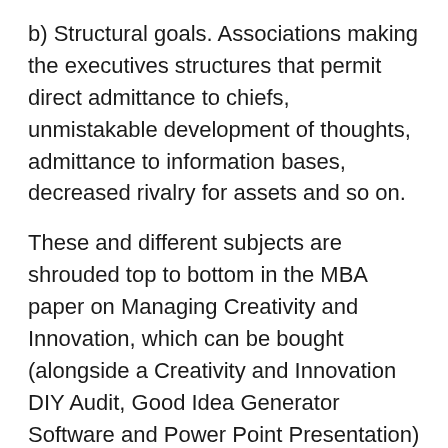b) Structural goals. Associations making the executives structures that permit direct admittance to chiefs, unmistakable development of thoughts, admittance to information bases, decreased rivalry for assets and so on.
These and different subjects are shrouded top to bottom in the MBA paper on Managing Creativity and Innovation, which can be bought (alongside a Creativity and Innovation DIY Audit, Good Idea Generator Software and Power Point Presentation) from http://www.managing-creativity.com/
You can likewise get a normal, free bulletin by entering your email address at this site.